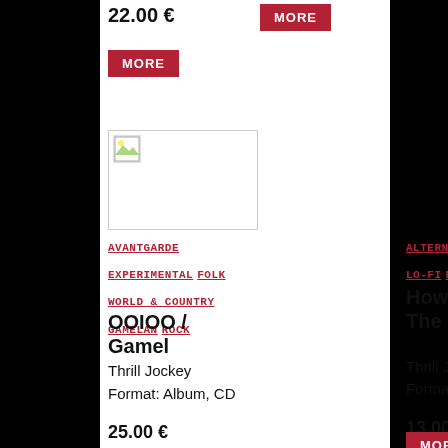22.00 €
[Figure (other): MORE button (red background, white text)]
[Figure (other): MORE button (red background, white text) left column]
[Figure (photo): Album cover image placeholder (broken image icon)]
AVANTGARDE EXPERIMENTAL FOLK WORLD & COUNTRY GAMELAN ROCK
OOIOO / Gamel
Thrill Jockey
Format: Album, CD
25.00 €
ALTERNATIVE ROCK LO-FI ROCK
Howe Gelb / The Listener
Thrill Jockey
Format: Album, CD
13.00 €
[Figure (other): MORE button (red background, white text) right column bottom]